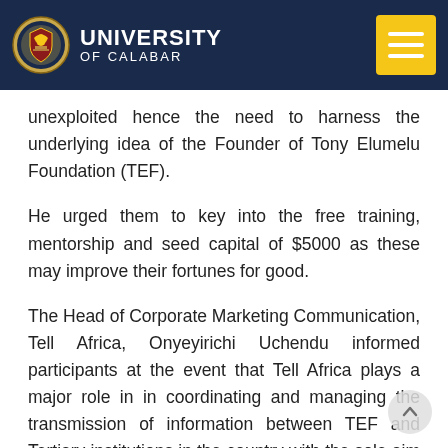UNIVERSITY OF CALABAR
unexploited hence the need to harness the underlying idea of the Founder of Tony Elumelu Foundation (TEF).
He urged them to key into the free training, mentorship and seed capital of $5000 as these may improve their fortunes for good.
The Head of Corporate Marketing Communication, Tell Africa, Onyeyirichi Uchendu informed participants at the event that Tell Africa plays a major role in in coordinating and managing the transmission of information between TEF and Tertiary institutions in the country with the sole aim of